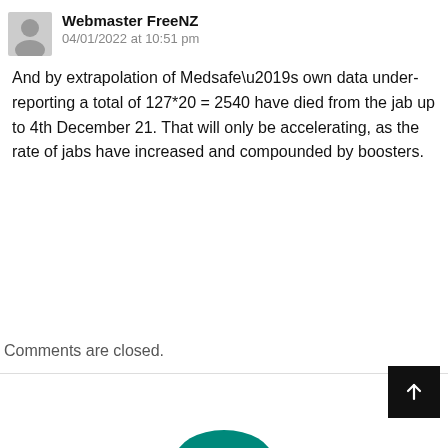Webmaster FreeNZ
04/01/2022 at 10:51 pm
And by extrapolation of Medsafe’s own data under-reporting a total of 127*20 = 2540 have died from the jab up to 4th December 21. That will only be accelerating, as the rate of jabs have increased and compounded by boosters.
Comments are closed.